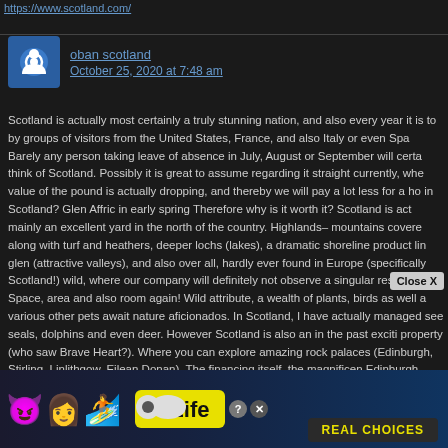https://www.scotland.com/
oban scotland
October 25, 2020 at 7:48 am
Scotland is actually most certainly a truly stunning nation, and also every year it is to by groups of visitors from the United States, France, and also Italy or even Spa Barely any person taking leave of absence in July, August or September will certa think of Scotland. Possibly it is great to assume regarding it straight currently, whe value of the pound is actually dropping, and thereby we will pay a lot less for a ho in Scotland? Glen Affric in early spring Therefore why is it worth it? Scotland is act mainly an excellent yard in the north of the country. Highlands– mountains covere along with turf and heathers, deeper lochs (lakes), a dramatic shoreline product lin glen (attractive valleys), and also over all, hardly ever found in Europe (specifically Scotland!) wild, where our company will definitely not observe a singular residence Space, area and also room again! Wild attribute, a wealth of plants, birds as well a various other pets await nature aficionados. In Scotland, I have actually managed see seals, dolphins and even deer. However Scotland is also an in the past exciti property (who saw Brave Heart?). Where you can explore amazing rock palaces (Edinburgh, Stirling, Linlithgow, Eilean Donan). The financing itself, the magnificen Edinburgh, likewise ought to have attention, specifically throughout the summer se festivities. nation Scotland, scottish Scotland, app Scotland, conservative Scotlan information Scotland, scotland Scotland, our team Scotland, h Scotland, one Scotland, creed Scotland, map Scotland, iona Scotland, food selection Scotla traveling nd, ship Sco uk Scotla nd Scotland, lifestyle S on Scotland
[Figure (other): BitLife advertisement banner with emojis and BitLife logo with Real Choices tagline]